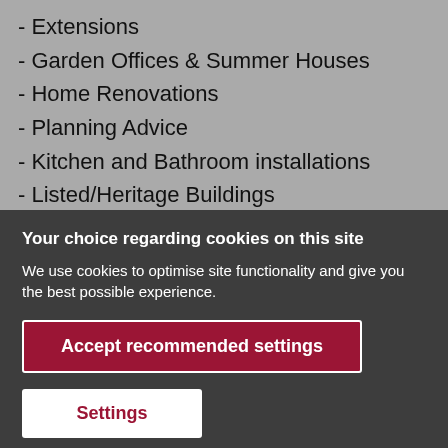- Extensions
- Garden Offices & Summer Houses
- Home Renovations
- Planning Advice
- Kitchen and Bathroom installations
- Listed/Heritage Buildings
- Garden and hard lanscaping
Your choice regarding cookies on this site
We use cookies to optimise site functionality and give you the best possible experience.
Accept recommended settings
Settings